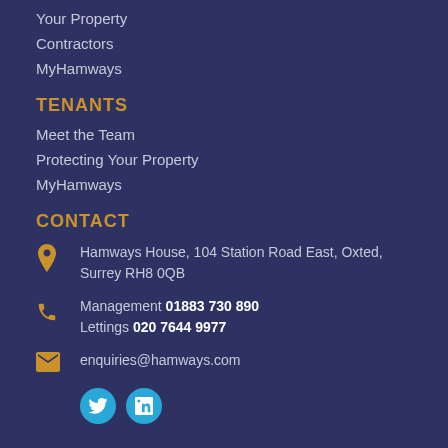Your Property
Contractors
MyHamways
TENANTS
Meet the Team
Protecting Your Property
MyHamways
CONTACT
Hamways House, 104 Station Road East, Oxted, Surrey RH8 0QB
Management 01883 730 890
Lettings 020 7644 9977
enquiries@hamways.com
[Figure (logo): Twitter and LinkedIn social media icons in cyan circles]